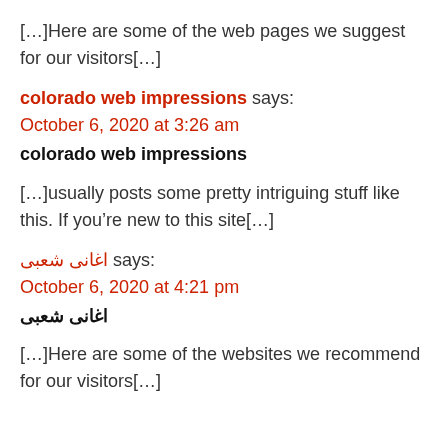[…]Here are some of the web pages we suggest for our visitors[…]
colorado web impressions says:
October 6, 2020 at 3:26 am
colorado web impressions
[…]usually posts some pretty intriguing stuff like this. If you’re new to this site[…]
اغانى شعبى says:
October 6, 2020 at 4:21 pm
اغانى شعبى
[…]Here are some of the websites we recommend for our visitors[…]